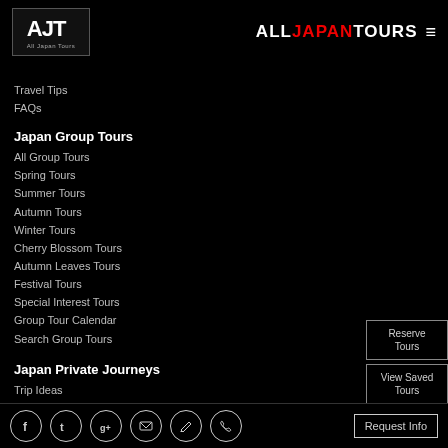AJT All Japan Tours | ALLJAPANTOURS ≡
Travel Tips
FAQs
Japan Group Tours
All Group Tours
Spring Tours
Summer Tours
Autumn Tours
Winter Tours
Cherry Blossom Tours
Autumn Leaves Tours
Festival Tours
Special Interest Tours
Group Tour Calendar
Search Group Tours
Japan Private Journeys
Trip Ideas
Insider Experiences
Omakase Japan Private Journeys
Japan by Rail Private Journeys
Reserve Tours
View Saved Tours
Search Tours
Facebook | Twitter | Google+ | Email | Edit | Phone | Request Info